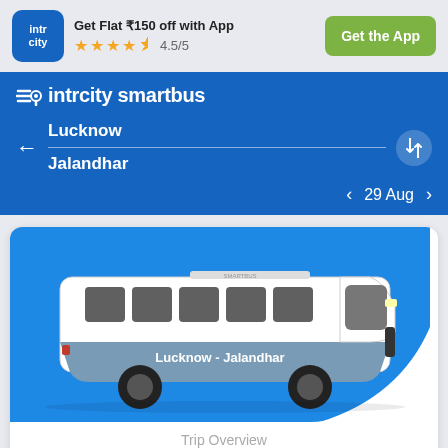[Figure (logo): IntrCity logo - blue rounded square with 'intr' and 'city' text in white]
Get Flat ₹150 off with App
★★★★☆ 4.5/5
Get the App
[Figure (screenshot): IntrCity SmartBus app search interface showing route Lucknow to Jalandhar on 29 Aug]
[Figure (illustration): Side view illustration of a blue and white SmartBus with text 'Lucknow - Jalandhar' on the side]
Trip Overview
Bus Information Between Lucknow &